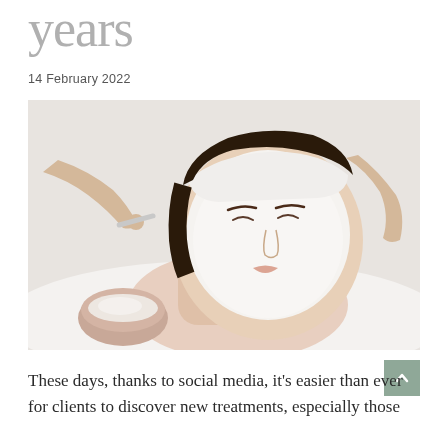years
14 February 2022
[Figure (photo): Woman lying down receiving a facial treatment at a spa, with white cream mask applied to her face, wearing a white headband. A technician's hands are holding a tool applying serum. A small bowl of cream is visible in the foreground.]
These days, thanks to social media, it's easier than ever for clients to discover new treatments, especially those